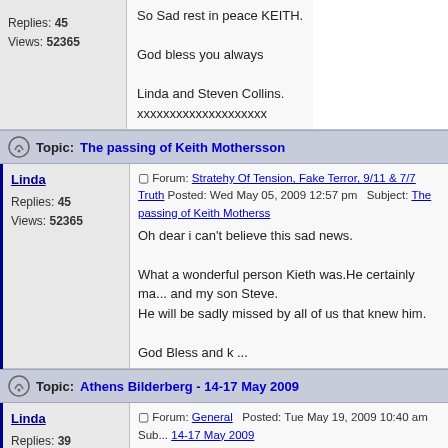Replies: 45
Views: 52365
So Sad rest in peace KEITH.

God bless you always

Linda and Steven Collins.
xxxxxxxxxxxxxxxxxxxx
Topic: The passing of Keith Mothersson
Linda
Forum: Stratehy Of Tension, Fake Terror, 9/11 & 7/7 Truth  Posted: Wed May 05, 2009 12:57 pm  Subject: The passing of Keith Motherss...
Replies: 45
Views: 52365
Oh dear i can't believe this sad news.

What a wonderful person Kieth was.He certainly ma... and my son Steve.
He will be sadly missed by all of us that knew him.

God Bless and k ...
Topic: Athens Bilderberg - 14-17 May 2009
Linda
Forum: General  Posted: Tue May 19, 2009 10:40 am  Sub... Athens Bilderberg - 14-17 May 2009
Replies: 39
Views: 24939
http://economycollapse.blogspot.com/2009/05/greec... endee-list.html

Dutch Queen Beatrix